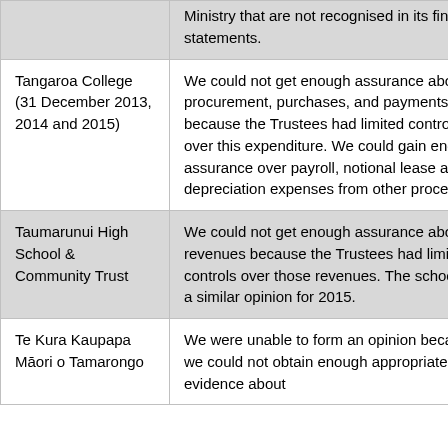| Entity | Reason |
| --- | --- |
|  | Ministry that are not recognised in its financial statements. |
| Tangaroa College (31 December 2013, 2014 and 2015) | We could not get enough assurance about procurement, purchases, and payments because the Trustees had limited controls over this expenditure. We could gain enough assurance over payroll, notional lease and depreciation expenses from other procedures. |
| Taumarunui High School & Community Trust | We could not get enough assurance about revenues because the Trustees had limited controls over those revenues. The school had a similar opinion for 2015. |
| Te Kura Kaupapa Māori o Tamarongo | We were unable to form an opinion because we could not obtain enough appropriate audit evidence about |